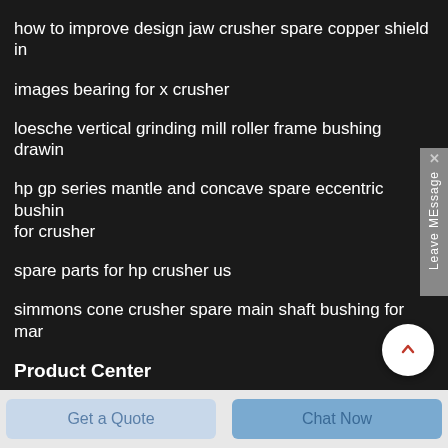how to improve design jaw crusher spare copper shield in
images bearing for x crusher
loesche vertical grinding mill roller frame bushing drawin
hp gp series mantle and concave spare eccentric bushing for crusher
spare parts for hp crusher us
simmons cone crusher spare main shaft bushing for mar
Product Center
Get a Quote
Chat Now